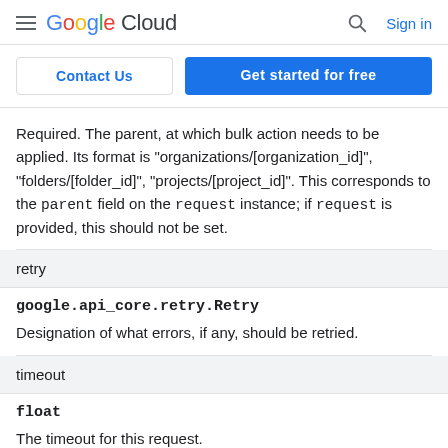Google Cloud  Sign in
Contact Us  Get started for free
Required. The parent, at which bulk action needs to be applied. Its format is "organizations/[organization_id]", "folders/[folder_id]", "projects/[project_id]". This corresponds to the parent field on the request instance; if request is provided, this should not be set.
retry
google.api_core.retry.Retry
Designation of what errors, if any, should be retried.
timeout
float
The timeout for this request.